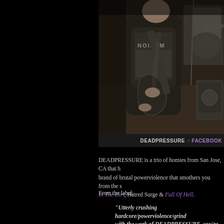[Figure (photo): Black and white photo of a guitarist wearing a Noisem t-shirt performing on stage, with drums visible in the background]
DEADPRESSURE ○ FACEBOOK
DEADPRESSURE is a trio of homies from San Jose, CA that have a brand of brutal powerviolence that smothers you from the s... In The Dirt, Hatred Surge & Full Of Hell.
From the label:
"Utterly crushing hardcore/powerviolence/grind... with the work of DEADPRESSURE, you're fuckin... area down for the past year with an iron fisted su... touch. If you like fast hardcore and carry a fucki... hardcore, or even if you just like to fucking...